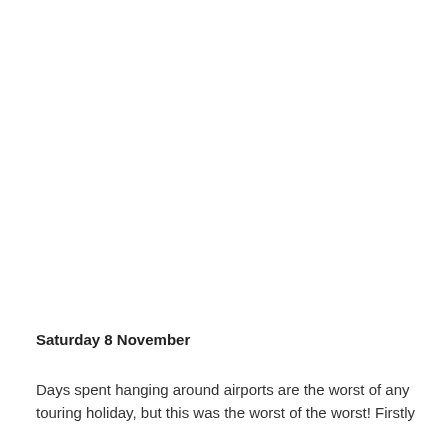Saturday 8 November
Days spent hanging around airports are the worst of any touring holiday, but this was the worst of the worst! Firstly